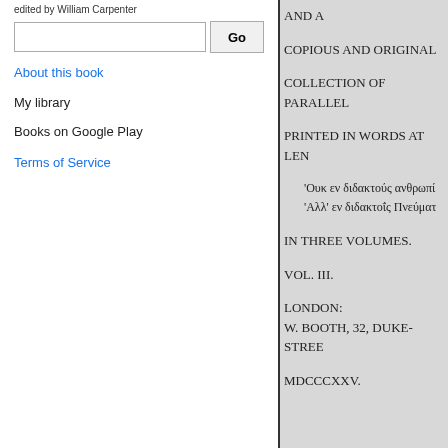edited by William Carpenter
Go
About this book
My library
Books on Google Play
Terms of Service
AND A
COPIOUS AND ORIGINAL
COLLECTION OF PARALLEL
PRINTED IN WORDS AT LEN
'Ουκ εν διδακτούς ανθρωπί
'Αλλ' εν διδακτοΐς Πνεύματ
IN THREE VOLUMES.
VOL. III.
LONDON:
W. BOOTH, 32, DUKE-STREE
MDCCCXXV.